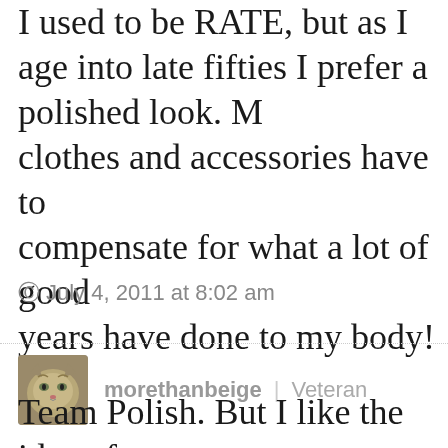I used to be RATE, but as I age into late fifties I prefer a polished look. My clothes and accessories have to compensate for what a lot of good years have done to my body!
© July 4, 2011 at 8:02 am
morethanbeige | Veteran
Team Polish. But I like the idea of adding a little RATE to my style!